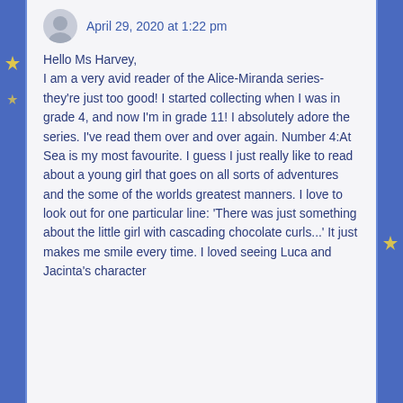April 29, 2020 at 1:22 pm
Hello Ms Harvey,
I am a very avid reader of the Alice-Miranda series-they're just too good! I started collecting when I was in grade 4, and now I'm in grade 11! I absolutely adore the series. I've read them over and over again. Number 4:At Sea is my most favourite. I guess I just really like to read about a young girl that goes on all sorts of adventures and the some of the worlds greatest manners. I love to look out for one particular line: 'There was just something about the little girl with cascading chocolate curls...' It just makes me smile every time. I loved seeing Luca and Jacinta's character